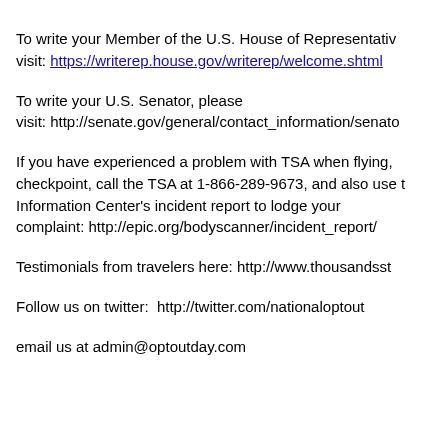To write your Member of the U.S. House of Representatives, please visit: https://writerep.house.gov/writerep/welcome.shtml
To write your U.S. Senator, please visit: http://senate.gov/general/contact_information/senators_cfm.cfm
If you have experienced a problem with TSA when flying, at a checkpoint, call the TSA at 1-866-289-9673, and also use the Electronic Privacy Information Center's incident report to lodge your complaint: http://epic.org/bodyscanner/incident_report/
Testimonials from travelers here: http://www.thousandsstandingaround.org/
Follow us on twitter:  http://twitter.com/nationaloptout
email us at admin@optoutday.com